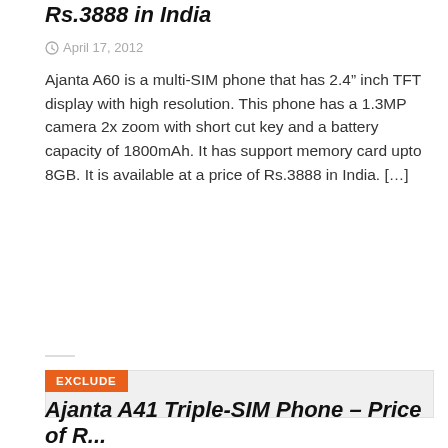Rs.3888 in India
April 17, 2012
Ajanta A60 is a multi-SIM phone that has 2.4" inch TFT display with high resolution. This phone has a 1.3MP camera 2x zoom with short cut key and a battery capacity of 1800mAh. It has support memory card upto 8GB. It is available at a price of Rs.3888 in India. […]
[Figure (other): Gray advertisement placeholder block with EXCLUDE badge in orange]
Ajanta A41 Triple-SIM Phone – Price of R...